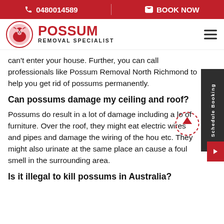📞 0480014589 | ✉ BOOK NOW
[Figure (logo): Possum Removal Specialist logo with possum icon in red circle and red text POSSUM REMOVAL SPECIALIST]
can't enter your house. Further, you can call professionals like Possum Removal North Richmond to help you get rid of possums permanently.
Can possums damage my ceiling and roof?
Possums do result in a lot of damage including a lot of furniture. Over the roof, they might eat electric wires and pipes and damage the wiring of the house etc. They might also urinate at the same place and cause a foul smell in the surrounding area.
Is it illegal to kill possums in Australia?